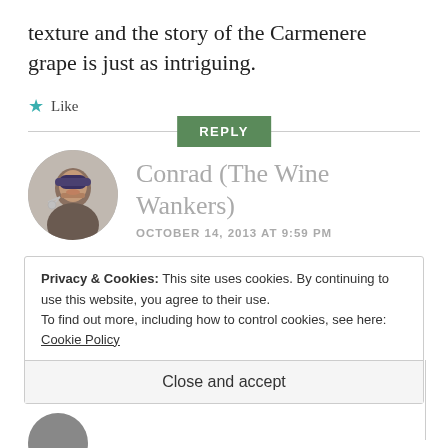texture and the story of the Carmenere grape is just as intriguing.
★ Like
REPLY
Conrad (The Wine Wankers)
OCTOBER 14, 2013 AT 9:59 PM
Privacy & Cookies: This site uses cookies. By continuing to use this website, you agree to their use.
To find out more, including how to control cookies, see here: Cookie Policy
Close and accept